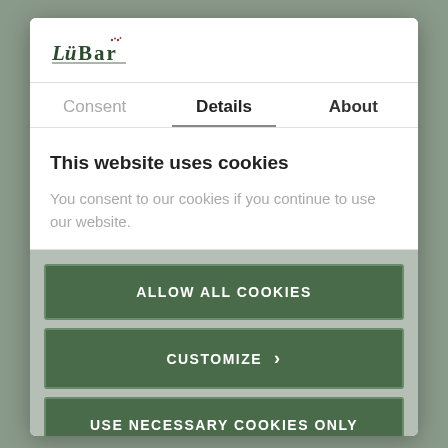[Figure (logo): LuBar company logo with stylized text]
Consent | Details | About
This website uses cookies
You consent to our cookies if you continue to use our website.
ALLOW ALL COOKIES
CUSTOMIZE ›
USE NECESSARY COOKIES ONLY
Powered by Cookiebot by Usercentrics